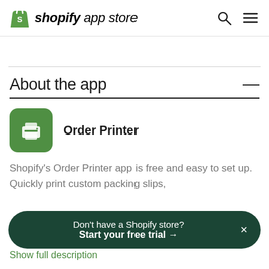shopify app store
About the app
[Figure (logo): Order Printer app icon - green rounded square with printer icon]
Order Printer
Shopify's Order Printer app is free and easy to set up. Quickly print custom packing slips,
Don't have a Shopify store? Start your free trial →
Show full description